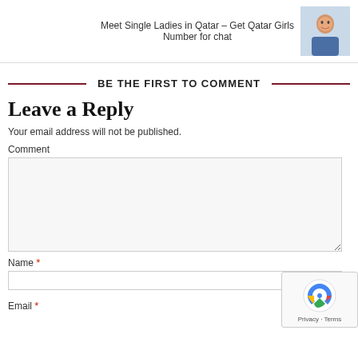Meet Single Ladies in Qatar – Get Qatar Girls Number for chat
BE THE FIRST TO COMMENT
Leave a Reply
Your email address will not be published.
Comment
Name *
Email *